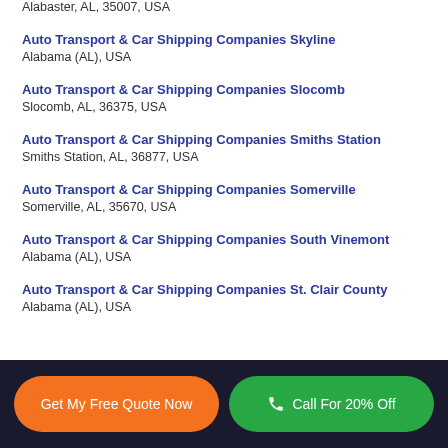Alabaster, AL, 35007, USA
Auto Transport & Car Shipping Companies Skyline
Alabama (AL), USA
Auto Transport & Car Shipping Companies Slocomb
Slocomb, AL, 36375, USA
Auto Transport & Car Shipping Companies Smiths Station
Smiths Station, AL, 36877, USA
Auto Transport & Car Shipping Companies Somerville
Somerville, AL, 35670, USA
Auto Transport & Car Shipping Companies South Vinemont
Alabama (AL), USA
Auto Transport & Car Shipping Companies St. Clair County
Alabama (AL), USA
Get My Free Quote Now | Call For 20% Off